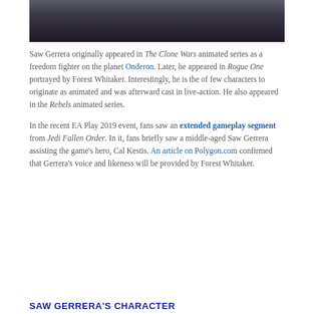[Figure (photo): Partial image of a scene, likely from Star Wars, showing figures with equipment against a dark background.]
Saw Gerrera originally appeared in The Clone Wars animated series as a freedom fighter on the planet Onderon. Later, he appeared in Rogue One portrayed by Forest Whitaker. Interestingly, he is the of few characters to originate as animated and was afterward cast in live-action. He also appeared in the Rebels animated series.
In the recent EA Play 2019 event, fans saw an extended gameplay segment from Jedi Fallen Order. In it, fans briefly saw a middle-aged Saw Gerrera assisting the game's hero, Cal Kestis. An article on Polygon.com confirmed that Gerrera's voice and likeness will be provided by Forest Whitaker.
SAW GERRERA'S CHARACTER